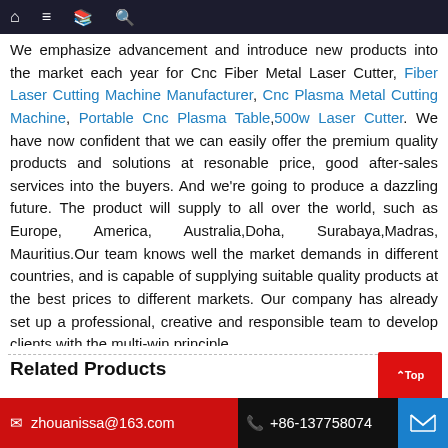Navigation bar with home, menu, book, search icons
We emphasize advancement and introduce new products into the market each year for Cnc Fiber Metal Laser Cutter, Fiber Laser Cutting Machine Manufacturer, Cnc Plasma Metal Cutting Machine, Portable Cnc Plasma Table, 500w Laser Cutter. We have now confident that we can easily offer the premium quality products and solutions at resonable price, good after-sales services into the buyers. And we're going to produce a dazzling future. The product will supply to all over the world, such as Europe, America, Australia, Doha, Surabaya, Madras, Mauritius. Our team knows well the market demands in different countries, and is capable of supplying suitable quality products at the best prices to different markets. Our company has already set up a professional, creative and responsible team to develop clients with the multi-win principle.
Related Products
zhouanissa@163.com   +86-137758074